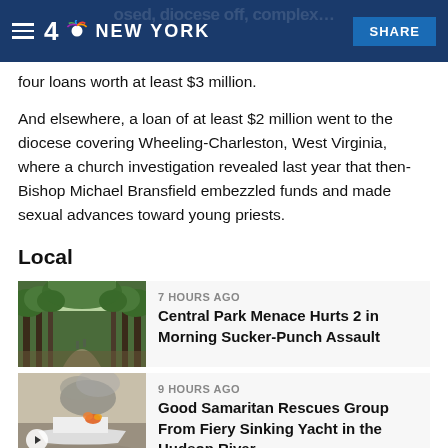NBC 4 New York
four loans worth at least $3 million.
And elsewhere, a loan of at least $2 million went to the diocese covering Wheeling-Charleston, West Virginia, where a church investigation revealed last year that then-Bishop Michael Bransfield embezzled funds and made sexual advances toward young priests.
Local
7 HOURS AGO
Central Park Menace Hurts 2 in Morning Sucker-Punch Assault
[Figure (photo): Tree-lined path in Central Park, green canopy overhead]
9 HOURS AGO
Good Samaritan Rescues Group From Fiery Sinking Yacht in the Hudson River
[Figure (photo): Boat on fire with smoke, sinking on the Hudson River]